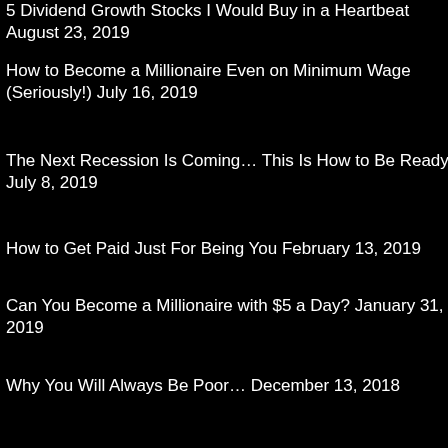5 Dividend Growth Stocks I Would Buy in a Heartbeat August 23, 2019
How to Become a Millionaire Even on Minimum Wage (Seriously!) July 16, 2019
The Next Recession Is Coming… This Is How to Be Ready July 8, 2019
How to Get Paid Just For Being You February 13, 2019
Can You Become a Millionaire with $5 a Day? January 31, 2019
Why You Will Always Be Poor… December 13, 2018